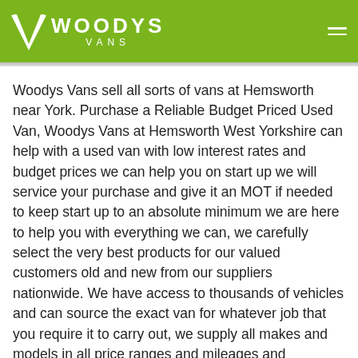WOODYS VANS
Woodys Vans sell all sorts of vans at Hemsworth near York. Purchase a Reliable Budget Priced Used Van, Woodys Vans at Hemsworth West Yorkshire can help with a used van with low interest rates and budget prices we can help you on start up we will service your purchase and give it an MOT if needed to keep start up to an absolute minimum we are here to help you with everything we can, we carefully select the very best products for our valued customers old and new from our suppliers nationwide. We have access to thousands of vehicles and can source the exact van for whatever job that you require it to carry out, we supply all makes and models in all price ranges and mileages and specifications to order, new stock is arriving daily, but if we don't have